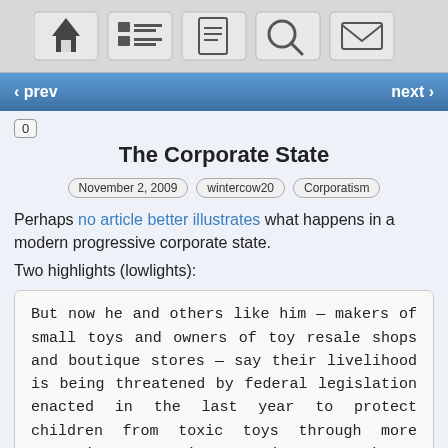[Figure (other): Mobile app toolbar with icons: home, list/menu, document, search, mail]
‹ prev    next ›
0
The Corporate State
November 2, 2009   wintercow20   Corporatism
Perhaps no article better illustrates what happens in a modern progressive corporate state.
Two highlights (lowlights):
But now he and others like him — makers of small toys and owners of toy resale shops and boutique stores — say their livelihood is being threatened by federal legislation enacted in the last year to protect children from toxic toys through more extensive testing. Big toymakers, including those whose tainted imports from China led to the recall of 45 million toys and spurred Congress to take action, have more resources and are able to comply with the new law's requirements.